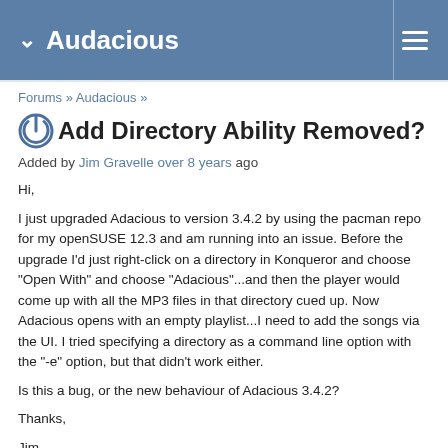Audacious
Forums » Audacious »
Add Directory Ability Removed?
Added by Jim Gravelle over 8 years ago
Hi,

I just upgraded Adacious to version 3.4.2 by using the pacman repo for my openSUSE 12.3 and am running into an issue. Before the upgrade I'd just right-click on a directory in Konqueror and choose "Open With" and choose "Adacious"...and then the player would come up with all the MP3 files in that directory cued up. Now Adacious opens with an empty playlist...I need to add the songs via the UI. I tried specifying a directory as a command line option with the "-e" option, but that didn't work either.

Is this a bug, or the new behaviour of Adacious 3.4.2?

Thanks,

Jim.